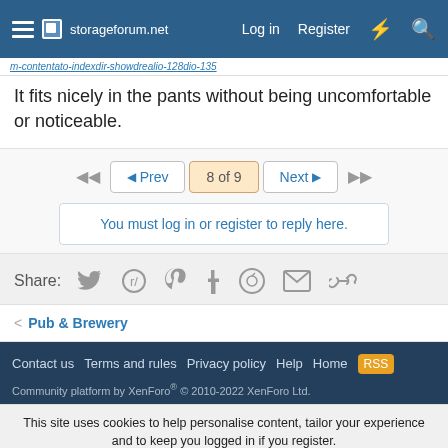storageforum.net — Log in  Register
m-contentato-indexdir-showdrealio-128dio-135
It fits nicely in the pants without being uncomfortable or noticeable.
◄◄  ◄ Prev  8 of 9  Next ►  ►►
You must log in or register to reply here.
Share:
< Pub & Brewery
Contact us  Terms and rules  Privacy policy  Help  Home  [RSS]
Community platform by XenForo® © 2010-2022 XenForo Ltd.
This site uses cookies to help personalise content, tailor your experience and to keep you logged in if you register. By continuing to use this site, you are consenting to our use of cookies.
✓ Accept   Learn more...